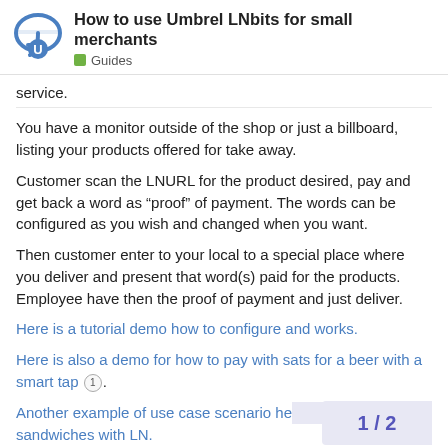How to use Umbrel LNbits for small merchants | Guides
service.
You have a monitor outside of the shop or just a billboard, listing your products offered for take away.
Customer scan the LNURL for the product desired, pay and get back a word as “proof” of payment. The words can be configured as you wish and changed when you want.
Then customer enter to your local to a special place where you deliver and present that word(s) paid for the products. Employee have then the proof of payment and just deliver.
Here is a tutorial demo how to configure and works.
Here is also a demo for how to pay with sats for a beer with a smart tap [1].
Another example of use case scenario he… sandwiches with LN.
1 / 2